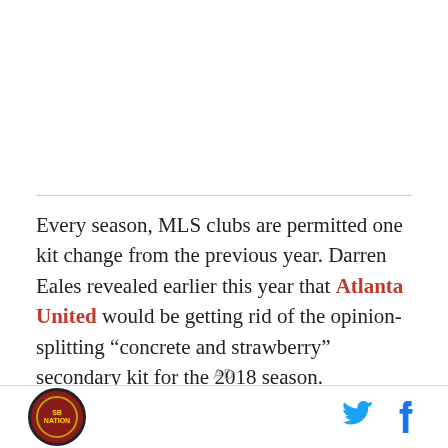Every season, MLS clubs are permitted one kit change from the previous year. Darren Eales revealed earlier this year that Atlanta United would be getting rid of the opinion-splitting “concrete and strawberry” secondary kit for the 2018 season.
AD
[logo] [twitter] [facebook]